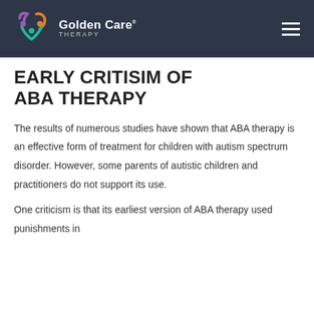[Figure (logo): Golden Care Therapy logo with colorful heart/person icon and white text on dark background header]
EARLY CRITISIM OF ABA THERAPY
The results of numerous studies have shown that ABA therapy is an effective form of treatment for children with autism spectrum disorder. However, some parents of autistic children and practitioners do not support its use.
One criticism is that its earliest version of ABA therapy used punishments in